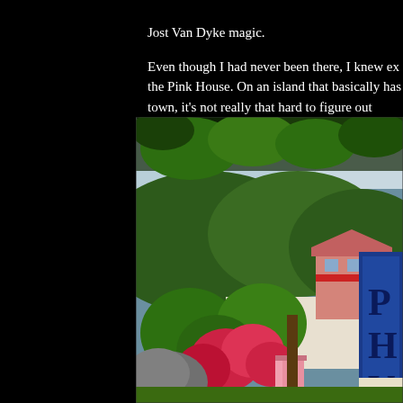Jost Van Dyke magic.
Even though I had never been there, I knew exactly where to find the Pink House. On an island that basically has one road and one town, it's not really that hard to figure out where...
[Figure (photo): Photograph of the Pink House on Jost Van Dyke, showing a pink building with red railings nestled among lush green tropical vegetation and red flowering bushes, with a blue sign visible on the right edge showing letters 'P H V' and 'BO']